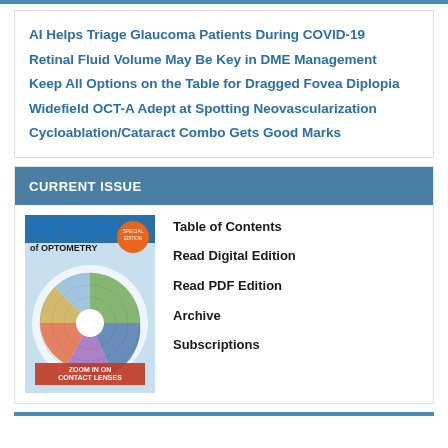AI Helps Triage Glaucoma Patients During COVID-19
Retinal Fluid Volume May Be Key in DME Management
Keep All Options on the Table for Dragged Fovea Diplopia
Widefield OCT-A Adept at Spotting Neovascularization
Cycloablation/Cataract Combo Gets Good Marks
CURRENT ISSUE
[Figure (photo): Cover of Review of Optometry magazine featuring 'Zoom in on Contact Lenses' with a circular diagram of contact lens options]
Table of Contents
Read Digital Edition
Read PDF Edition
Archive
Subscriptions